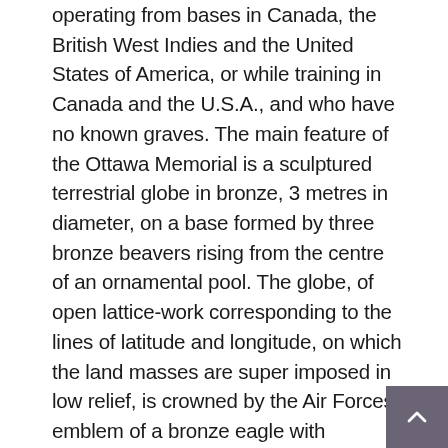operating from bases in Canada, the British West Indies and the United States of America, or while training in Canada and the U.S.A., and who have no known graves. The main feature of the Ottawa Memorial is a sculptured terrestrial globe in bronze, 3 metres in diameter, on a base formed by three bronze beavers rising from the centre of an ornamental pool. The globe, of open lattice-work corresponding to the lines of latitude and longitude, on which the land masses are super imposed in low relief, is crowned by the Air Forces emblem of a bronze eagle with outspread wings. Two curved screen walls faced in limestone, bearing cast bronze panels on which the names appear, face inwards towards the globe. They are placed slightly off centre